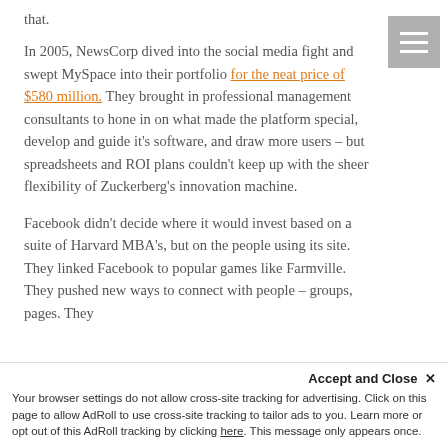that.
In 2005, NewsCorp dived into the social media fight and swept MySpace into their portfolio for the neat price of $580 million. They brought in professional management consultants to hone in on what made the platform special, develop and guide it's software, and draw more users – but spreadsheets and ROI plans couldn't keep up with the sheer flexibility of Zuckerberg's innovation machine.
Facebook didn't decide where it would invest based on a suite of Harvard MBA's, but on the people using its site. They linked Facebook to popular games like Farmville. They pushed new ways to connect with people – groups, pages. They
Accept and Close ✕
Your browser settings do not allow cross-site tracking for advertising. Click on this page to allow AdRoll to use cross-site tracking to tailor ads to you. Learn more or opt out of this AdRoll tracking by clicking here. This message only appears once.